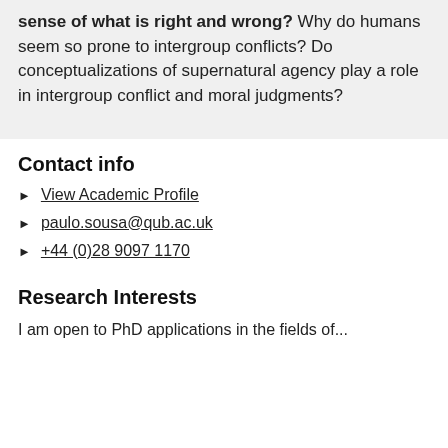is the nature of the mechanisms involved in our sense of what is right and wrong? Why do humans seem so prone to intergroup conflicts? Do conceptualizations of supernatural agency play a role in intergroup conflict and moral judgments?
Contact info
View Academic Profile
paulo.sousa@qub.ac.uk
+44 (0)28 9097 1170
Research Interests
I am open to PhD applications in the fields of...